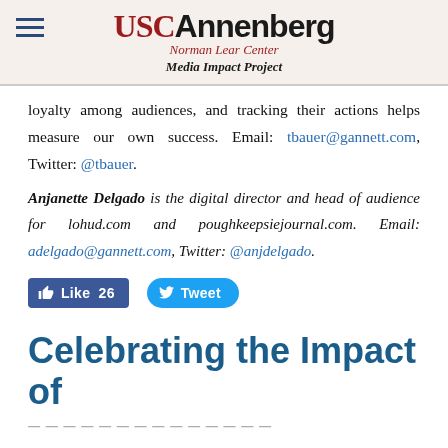USC Annenberg Norman Lear Center Media Impact Project
loyalty among audiences, and tracking their actions helps measure our own success. Email: tbauer@gannett.com, Twitter: @tbauer.
Anjanette Delgado is the digital director and head of audience for lohud.com and poughkeepsiejournal.com. Email: adelgado@gannett.com, Twitter: @anjdelgado.
[Figure (infographic): Facebook Like button showing 26 likes, and a Twitter Tweet button]
Celebrating the Impact of